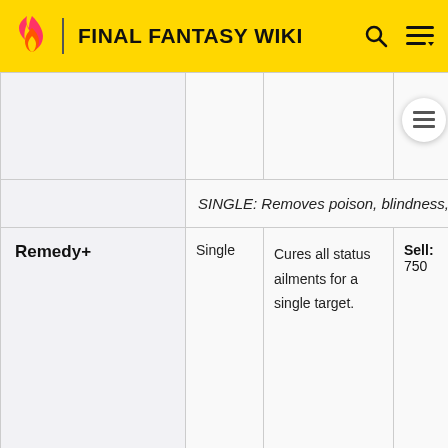FINAL FANTASY WIKI
| Item | Target | Effect | Sell | Obtain |
| --- | --- | --- | --- | --- |
|  |  |  |  | Mart (a…
Cha… |
|  |  | SINGLE: Removes poison, blindness, obliv… and confusion. |  |  |
| Remedy+ | Single | Cures all status ailments for a single target. | Sell: 750 | Drop: (unobtai…
Gigant…
Gigant…
Lucky…
Sylph,…
Unicor…
Vampir…
Drop (Night…
Garchi…
Mini Fla…
Eater,…
Find:… |